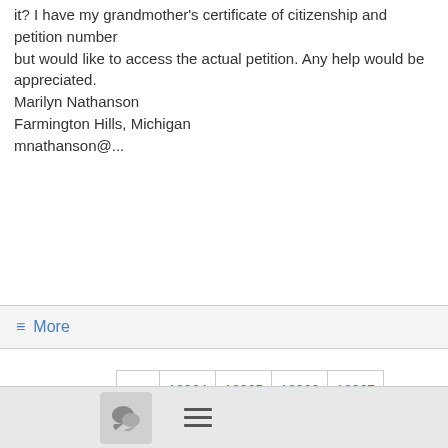it?  I have my grandmother's certificate of citizenship and petition number but would like to access the actual petition.  Any help would be appreciated.
Marilyn Nathanson
Farmington Hills, Michigan
mnathanson@...
≡ More
247341 - 247360 of 671278
[Figure (screenshot): Pagination controls showing page numbers 12364-12372 with back arrow and forward arrow. Current page 12368 is bold.]
[Figure (screenshot): Footer bar with chat bubble icon and hamburger menu icon]